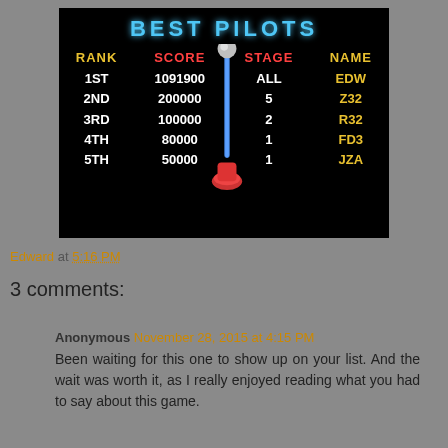[Figure (screenshot): Arcade game high score screen showing 'BEST PILOTS' leaderboard with ranks 1ST through 5TH, scores (1091900, 200000, 100000, 80000, 50000), stage numbers, and pilot names (EDW, Z32, R32, FD3, JZA). A joystick overlay partially obscures the stage column.]
Edward at 5:16 PM
3 comments:
Anonymous November 28, 2015 at 4:15 PM
Been waiting for this one to show up on your list. And the wait was worth it, as I really enjoyed reading what you had to say about this game.